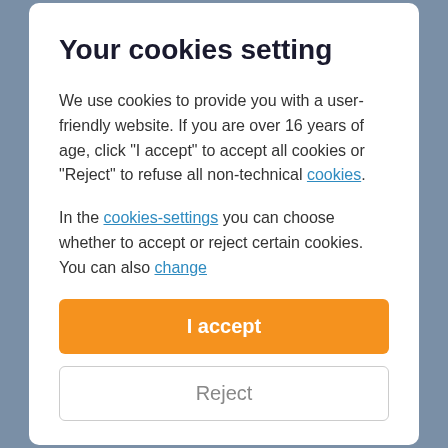Your cookies setting
We use cookies to provide you with a user-friendly website. If you are over 16 years of age, click "I accept" to accept all cookies or "Reject" to refuse all non-technical cookies.
In the cookies-settings you can choose whether to accept or reject certain cookies. You can also change
I accept
Reject